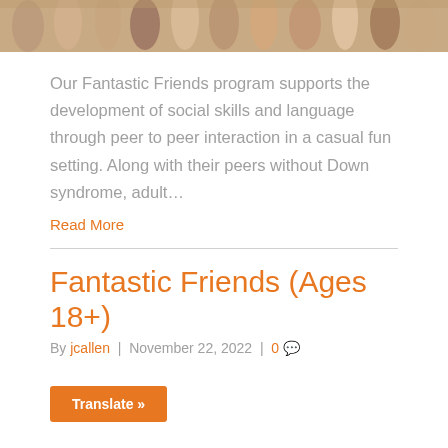[Figure (photo): Row of diverse hands raised or displayed against a white background, cropped at top]
Our Fantastic Friends program supports the development of social skills and language through peer to peer interaction in a casual fun setting. Along with their peers without Down syndrome, adult…
Read More
Fantastic Friends (Ages 18+)
By jcallen | November 22, 2022 | 0
Translate »